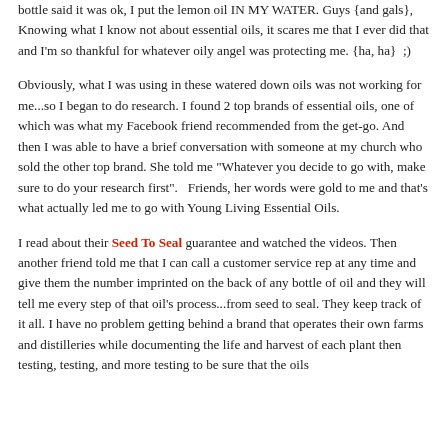bottle said it was ok, I put the lemon oil IN MY WATER. Guys {and gals}, Knowing what I know not about essential oils, it scares me that I ever did that and I'm so thankful for whatever oily angel was protecting me. {ha, ha}  ;)
Obviously, what I was using in these watered down oils was not working for me...so I began to do research. I found 2 top brands of essential oils, one of which was what my Facebook friend recommended from the get-go. And then I was able to have a brief conversation with someone at my church who sold the other top brand. She told me "Whatever you decide to go with, make sure to do your research first".   Friends, her words were gold to me and that's what actually led me to go with Young Living Essential Oils.
I read about their Seed To Seal guarantee and watched the videos. Then another friend told me that I can call a customer service rep at any time and give them the number imprinted on the back of any bottle of oil and they will tell me every step of that oil's process...from seed to seal. They keep track of it all. I have no problem getting behind a brand that operates their own farms and distilleries while documenting the life and harvest of each plant then testing, testing, and more testing to be sure that the oils...